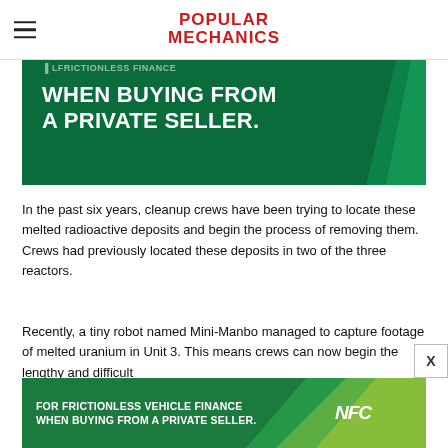POPULAR MECHANICS
[Figure (infographic): Green advertisement banner: FOR FRICTIONLESS VEHICLE FINANCE WHEN BUYING FROM A PRIVATE SELLER. with diagonal teal/lime geometric accent on right.]
In the past six years, cleanup crews have been trying to locate these melted radioactive deposits and begin the process of removing them. Crews had previously located these deposits in two of the three reactors.
Recently, a tiny robot named Mini-Manbo managed to capture footage of melted uranium in Unit 3. This means crews can now begin the lengthy and difficult
[Figure (infographic): Green advertisement banner at bottom: FOR FRICTIONLESS VEHICLE FINANCE WHEN BUYING FROM A PRIVATE SELLER. with NFC logo and diagonal lime/yellow geometric accent.]